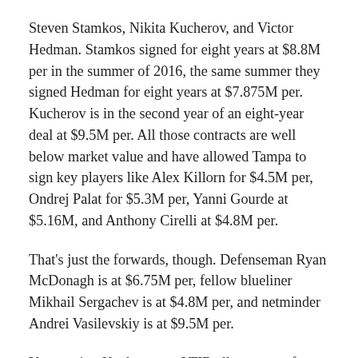Steven Stamkos, Nikita Kucherov, and Victor Hedman. Stamkos signed for eight years at $8.8M per in the summer of 2016, the same summer they signed Hedman for eight years at $7.875M per. Kucherov is in the second year of an eight-year deal at $9.5M per. All those contracts are well below market value and have allowed Tampa to sign key players like Alex Killorn for $4.5M per, Ondrej Palat for $5.3M per, Yanni Gourde at $5.16M, and Anthony Cirelli at $4.8M per.
That's just the forwards, though. Defenseman Ryan McDonagh is at $6.75M per, fellow blueliner Mikhail Sergachev is at $4.8M per, and netminder Andrei Vasilevskiy is at $9.5M per.
Yes, putting Kucherov on LTIR all season to free up $9.5M helped this season, but there is a clear recipe to